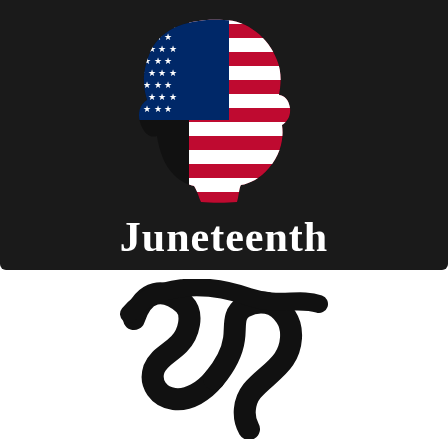[Figure (illustration): Black silhouette of a person's head in profile (facing right) filled with the American flag pattern (blue canton with white stars on the left, red and white horizontal stripes on the right), on a dark/black background. Below the silhouette is the word 'Juneteenth' in bold white serif font.]
Juneteenth
[Figure (illustration): Black brush-stroke or handwritten signature/scribble marks on a white background, appearing as bold curved strokes resembling a stylized 'M' or wave pattern.]